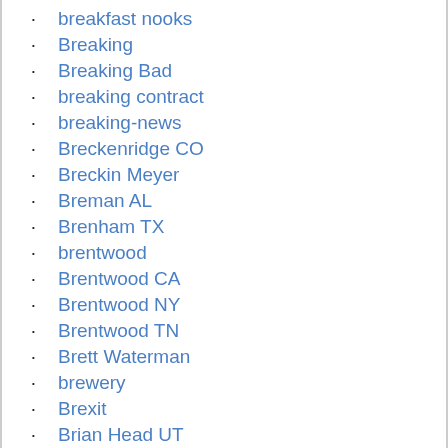breakfast nooks
Breaking
Breaking Bad
breaking contract
breaking-news
Breckenridge CO
Breckin Meyer
Breman AL
Brenham TX
brentwood
Brentwood CA
Brentwood NY
Brentwood TN
Brett Waterman
brewery
Brexit
Brian Head UT
brick
bridge loan